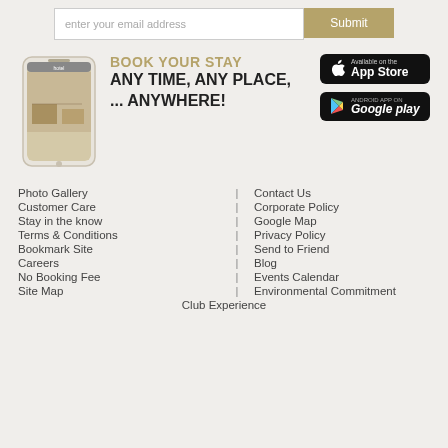[Figure (other): Email subscription bar with input field 'enter your email address' and a gold 'Submit' button]
[Figure (infographic): Mobile app promotion showing a smartphone with hotel app, text 'BOOK YOUR STAY ANY TIME, ANY PLACE, ... ANYWHERE!' and App Store / Google Play badges]
Photo Gallery | Contact Us
Customer Care | Corporate Policy
Stay in the know | Google Map
Terms & Conditions | Privacy Policy
Bookmark Site | Send to Friend
Careers | Blog
No Booking Fee | Events Calendar
Site Map | Environmental Commitment
Club Experience